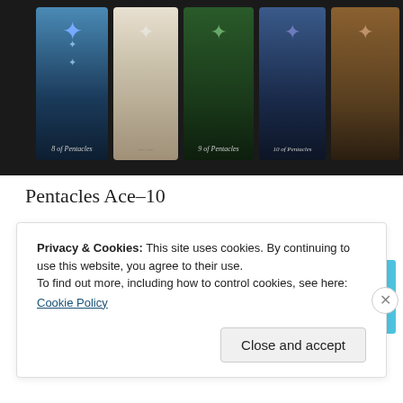[Figure (photo): Photo of tarot cards including 8 of Pentacles, 9 of Pentacles, and 10 of Pentacles laid out on a dark background]
Pentacles Ace-10
Tarot Style
[Figure (screenshot): Advertisement banner for Day One app - 'Your Journal for life' on a blue background with phone mockup]
REPORT THIS AD
Privacy & Cookies: This site uses cookies. By continuing to use this website, you agree to their use.
To find out more, including how to control cookies, see here:
Cookie Policy
Close and accept